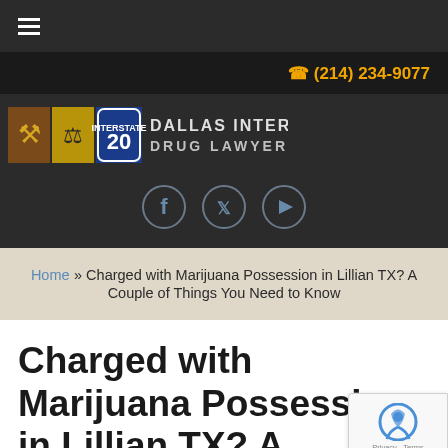≡ (hamburger menu)
☎ (214) 234-9077
[Figure (logo): Dallas Interstate Drug Lawyer logo with gavel, scales of justice, and Interstate 20 shield icons, with text DALLAS INTERSTATE DRUG LAWYER]
[Figure (other): Social media icons: Facebook, Twitter, YouTube in circular outlines]
Home » Charged with Marijuana Possession in Lillian TX? A Couple of Things You Need to Know
Charged with Marijuana Possession in Lillian TX? A